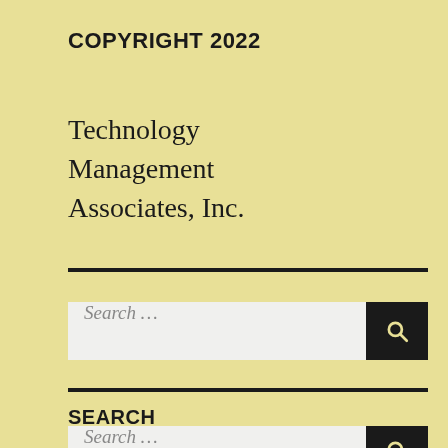COPYRIGHT 2022
Technology Management Associates, Inc.
[Figure (other): Search input field with magnifying glass button]
SEARCH
[Figure (other): Search input field with magnifying glass button]